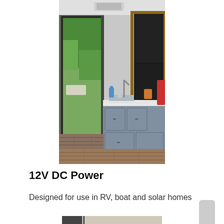[Figure (photo): Interior of an RV or modern mobile home kitchen showing gray cabinets, a white marble countertop, sliding glass door to outside, wood-look flooring, a black refrigerator, and items on the counter including a blue bottle and orange drink.]
12V DC Power
Designed for use in RV, boat and solar homes
[Figure (photo): Partial view of another kitchen or interior space, cropped at bottom of page.]